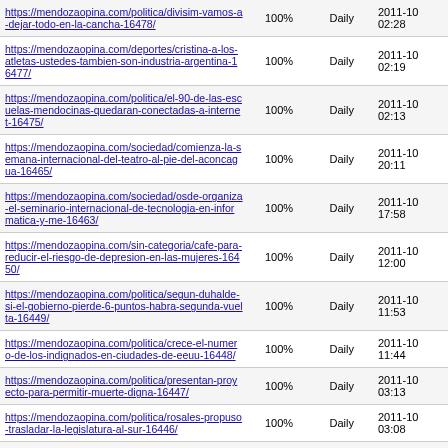| URL | Priority | Change Freq | Last Modified |
| --- | --- | --- | --- |
| https://mendozaopina.com/politica/divisim-vamos-a-dejar-todo-en-la-cancha-16478/ | 100% | Daily | 2011-10 02:28 |
| https://mendozaopina.com/deportes/cristina-a-los-atletas-ustedes-tambien-son-industria-argentina-16477/ | 100% | Daily | 2011-10 02:19 |
| https://mendozaopina.com/politica/el-90-de-las-escuelas-mendocinas-quedaran-conectadas-a-internet-16475/ | 100% | Daily | 2011-10 02:13 |
| https://mendozaopina.com/sociedad/comienza-la-semana-internacional-del-teatro-al-pie-del-aconcagua-16465/ | 100% | Daily | 2011-10 20:11 |
| https://mendozaopina.com/sociedad/osde-organiza-el-seminario-internacional-de-tecnologia-en-informatica-y-me-16463/ | 100% | Daily | 2011-10 17:58 |
| https://mendozaopina.com/sin-categoria/cafe-para-reducir-el-riesgo-de-depresion-en-las-mujeres-16450/ | 100% | Daily | 2011-10 12:00 |
| https://mendozaopina.com/politica/segun-duhalde-si-el-gobierno-pierde-6-puntos-habra-segunda-vuelta-16449/ | 100% | Daily | 2011-10 11:53 |
| https://mendozaopina.com/politica/crece-el-numero-de-los-indignados-en-ciudades-de-eeuu-16448/ | 100% | Daily | 2011-10 11:44 |
| https://mendozaopina.com/politica/presentan-proyecto-para-permitir-muerte-digna-16447/ | 100% | Daily | 2011-10 03:13 |
| https://mendozaopina.com/politica/rosales-propuso-trasladar-la-legislatura-al-sur-16446/ | 100% | Daily | 2011-10 03:08 |
| https://mendozaopina.com/opinion/octubre-elegir-... | 100% | Daily | 2011-10 |